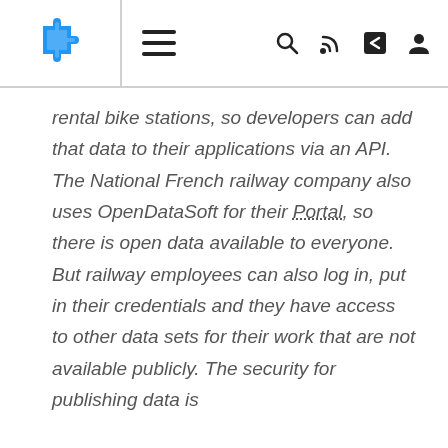[logo puzzle icon] [hamburger menu] [search] [rss] [share] [user]
rental bike stations, so developers can add that data to their applications via an API. The National French railway company also uses OpenDataSoft for their Portal, so there is open data available to everyone. But railway employees can also log in, put in their credentials and they have access to other data sets for their work that are not available publicly. The security for publishing data is